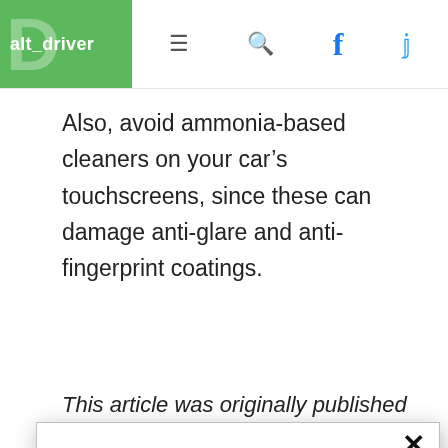alt_driver
Also, avoid ammonia-based cleaners on your car’s touchscreens, since these can damage anti-glare and anti-fingerprint coatings.
This article was originally published March 24,
In accordance with our Privacy Policy, we may share with our parent company (PCH) and advertising partners an anonymized identifier that protects your privacy, provides advertising tailored to your interests and gives you access to advertising supported content. Data collected on one of our sites may be used on our other owned and operated sites, which sites are identified in our Privacy Policy. All of our sites are governed by the same Privacy Policy, and by proceeding to access this site, you are consenting to that Privacy Policy.